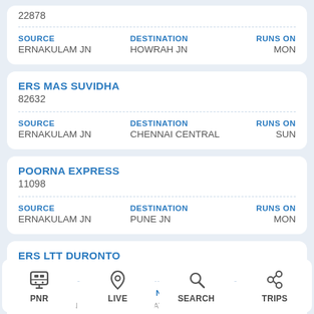22878
SOURCE: ERNAKULAM JN | DESTINATION: HOWRAH JN | RUNS ON: MON
ERS MAS SUVIDHA
82632
SOURCE: ERNAKULAM JN | DESTINATION: CHENNAI CENTRAL | RUNS ON: SUN
POORNA EXPRESS
11098
SOURCE: ERNAKULAM JN | DESTINATION: PUNE JN | RUNS ON: MON
ERS LTT DURONTO
12224
SOURCE | DESTINATION | RUNS ON
PNR | LIVE | SEARCH | TRIPS